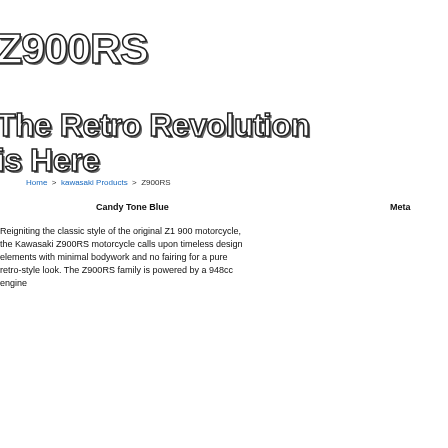Z900RS
The Retro Revolution is Here
Home > kawasaki Products > Z900RS
Candy Tone Blue   Meta
Reigniting the classic style of the original Z1 900 motorcycle, the Kawasaki Z900RS motorcycle calls upon timeless design elements with minimal bodywork and no fairing for a pure retro-style look. The Z900RS family is powered by a 948cc engine